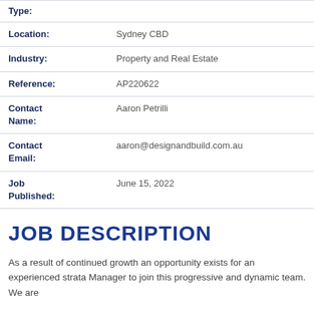| Field | Value |
| --- | --- |
| Type: |  |
| Location: | Sydney CBD |
| Industry: | Property and Real Estate |
| Reference: | AP220622 |
| Contact Name: | Aaron Petrilli |
| Contact Email: | aaron@designandbuild.com.au |
| Job Published: | June 15, 2022 |
JOB DESCRIPTION
As a result of continued growth an opportunity exists for an experienced strata Manager to join this progressive and dynamic team. We are